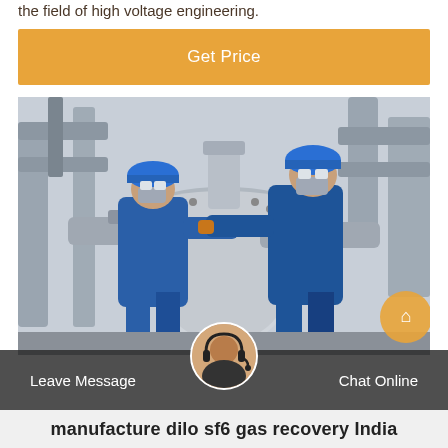the field of high voltage engineering.
[Figure (other): Orange 'Get Price' button banner]
[Figure (photo): Two workers in blue coveralls and hard hats working on large industrial SF6 gas equipment/piping at a high voltage substation.]
Leave Message
Chat Online
manufacture dilo sf6 gas recovery India